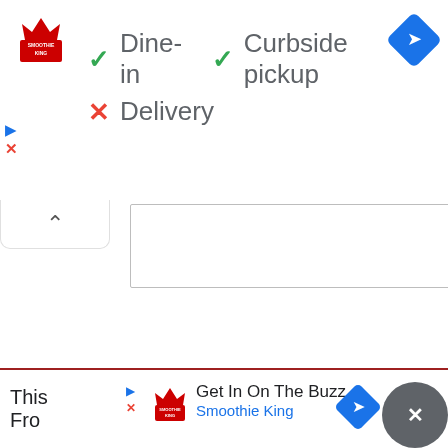[Figure (logo): Smoothie King logo, red crown with text, top left]
✓ Dine-in  ✓ Curbside pickup
✗ Delivery
[Figure (other): Blue diamond turn-by-turn navigation icon, top right]
[Figure (screenshot): White empty input/text area box in middle section]
[Figure (logo): Smoothie King ad strip at bottom with logo, Get In On The Buzz text, blue diamond nav icon, and gray close button]